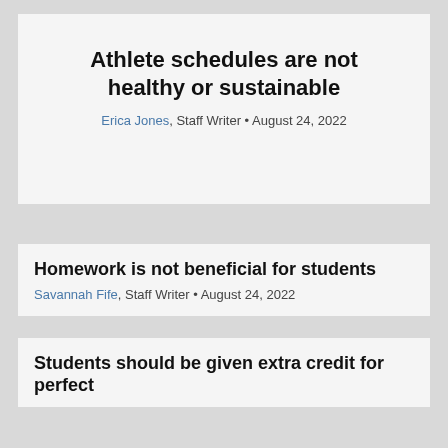Athlete schedules are not healthy or sustainable
Erica Jones, Staff Writer • August 24, 2022
Homework is not beneficial for students
Savannah Fife, Staff Writer • August 24, 2022
Students should be given extra credit for perfect